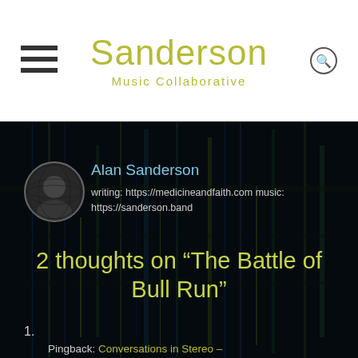Sanderson
Music Collaborative
[Figure (photo): Author avatar: circular portrait photo of Alan Sanderson against dark background]
Alan Sanderson
writing: https://medicineandfaith.com music: https://sanderson.band
2 thoughts on “The Battle of Bull Run”
1.
Pingback: Conversations in Stereo –